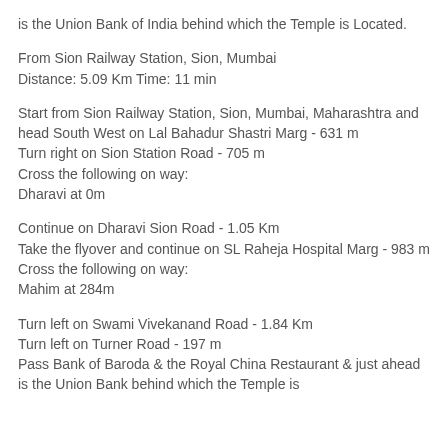is the Union Bank of India behind which the Temple is Located.
From Sion Railway Station, Sion, Mumbai
Distance: 5.09 Km Time: 11 min
Start from Sion Railway Station, Sion, Mumbai, Maharashtra and head South West on Lal Bahadur Shastri Marg - 631 m
Turn right on Sion Station Road - 705 m
Cross the following on way:
Dharavi at 0m
Continue on Dharavi Sion Road - 1.05 Km
Take the flyover and continue on SL Raheja Hospital Marg - 983 m
Cross the following on way:
Mahim at 284m
Turn left on Swami Vivekanand Road - 1.84 Km
Turn left on Turner Road - 197 m
Pass Bank of Baroda & the Royal China Restaurant & just ahead is the Union Bank behind which the Temple is